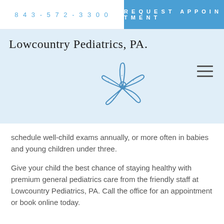843-572-3300   REQUEST APPOINTMENT
Lowcountry Pediatrics, PA.
[Figure (illustration): Hand-drawn blue starfish logo illustration]
schedule well-child exams annually, or more often in babies and young children under three.
Give your child the best chance of staying healthy with premium general pediatrics care from the friendly staff at Lowcountry Pediatrics, PA. Call the office for an appointment or book online today.
REQUEST APPOINTMENT